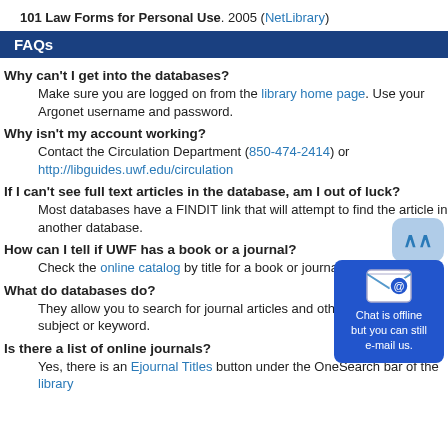101 Law Forms for Personal Use. 2005 (NetLibrary)
FAQs
Why can't I get into the databases?
Make sure you are logged on from the library home page. Use your Argonet username and password.
Why isn't my account working?
Contact the Circulation Department (850-474-2414) or http://libguides.uwf.edu/circulation
If I can't see full text articles in the database, am I out of luck?
Most databases have a FINDIT link that will attempt to find the article in another database.
How can I tell if UWF has a book or a journal?
Check the online catalog by title for a book or journal.
What do databases do?
They allow you to search for journal articles and other resources by subject or keyword.
Is there a list of online journals?
Yes, there is an Ejournal Titles button under the OneSearch bar of the library